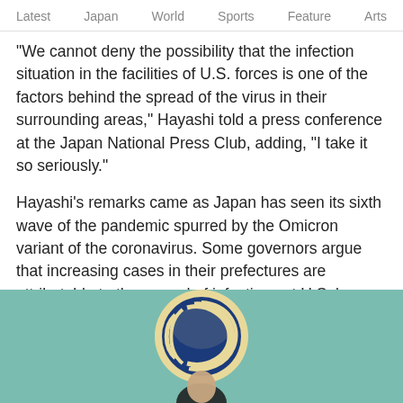Latest   Japan   World   Sports   Feature   Arts
"We cannot deny the possibility that the infection situation in the facilities of U.S. forces is one of the factors behind the spread of the virus in their surrounding areas," Hayashi told a press conference at the Japan National Press Club, adding, "I take it so seriously."
Hayashi's remarks came as Japan has seen its sixth wave of the pandemic spurred by the Omicron variant of the coronavirus. Some governors argue that increasing cases in their prefectures are attributable to the spread of infections at U.S. bases in Okinawa and Yamaguchi prefectures.
[Figure (photo): Photo showing a circular emblem/logo in blue and cream/gold colors, and the top of a person's head visible at the bottom, against a teal/green background.]